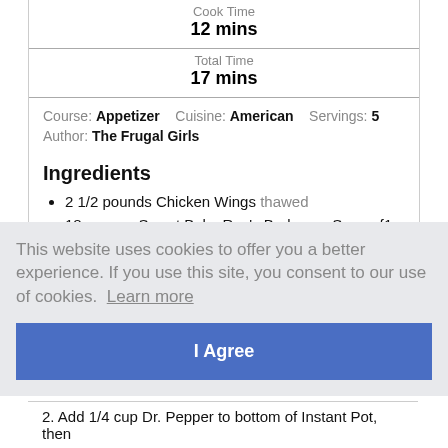Cook Time
12 mins
Total Time
17 mins
Course: Appetizer   Cuisine: American   Servings: 5
Author: The Frugal Girls
Ingredients
2 1/2 pounds Chicken Wings thawed
18 ounces Sweet Baby Ray's Barbecue Sauce {1
This website uses cookies to offer you a better experience. If you use this site, you consent to our use of cookies. Learn more
I Agree
2. Add 1/4 cup Dr. Pepper to bottom of Instant Pot, then